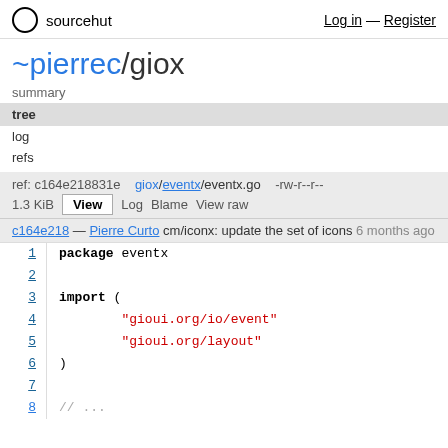sourcehut   Log in — Register
~pierrec/giox
summary
tree
log
refs
ref: c164e218831e   giox/eventx/eventx.go   -rw-r--r--   1.3 KiB   View   Log   Blame   View raw
c164e218 — Pierre Curto cm/iconx: update the set of icons 6 months ago
1	package eventx
2
3	import (
4		"gioui.org/io/event"
5		"gioui.org/layout"
6	)
7
8	// ...